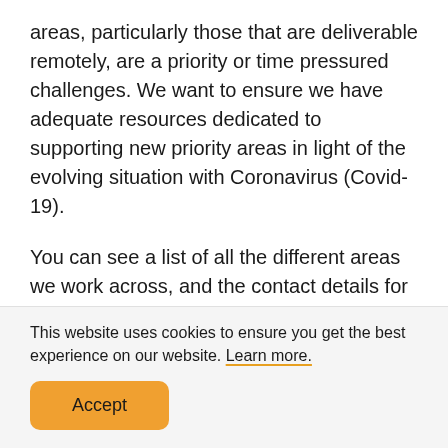areas, particularly those that are deliverable remotely, are a priority or time pressured challenges. We want to ensure we have adequate resources dedicated to supporting new priority areas in light of the evolving situation with Coronavirus (Covid-19).
You can see a list of all the different areas we work across, and the contact details for relevant staff here.
We have created a dedicated Coronavirus page
This website uses cookies to ensure you get the best experience on our website. Learn more.
Accept